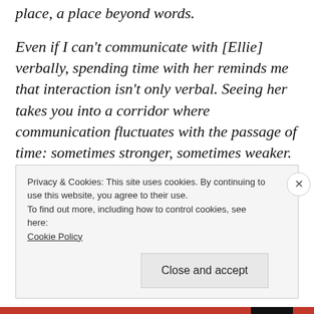place, a place beyond words.
Even if I can't communicate with [Ellie] verbally, spending time with her reminds me that interaction isn't only verbal. Seeing her takes you into a corridor where communication fluctuates with the passage of time: sometimes stronger, sometimes weaker. When it's weak, it seems almost to vanish away, and you wonder if you will see it again. When it's strong, it's the most
Privacy & Cookies: This site uses cookies. By continuing to use this website, you agree to their use.
To find out more, including how to control cookies, see here:
Cookie Policy